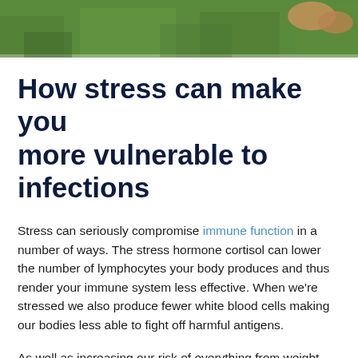[Figure (photo): Outdoor photo showing grass and what appears to be feet/shoes in the background, cropped at top of page]
How stress can make you more vulnerable to infections
Stress can seriously compromise immune function in a number of ways. The stress hormone cortisol can lower the number of lymphocytes your body produces and thus render your immune system less effective. When we're stressed we also produce fewer white blood cells making our bodies less able to fight off harmful antigens.
As well as increasing our risk of everything from weight gain to cancer, chronic stress can make us more vulnerable to the international pandemic. As well as self-isolating, college students should take the following measures to reduce stress.